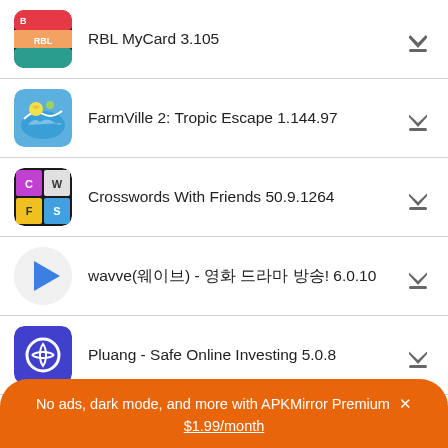RBL MyCard 3.105
FarmVille 2: Tropic Escape 1.144.97
Crosswords With Friends 50.9.1264
wavve(웨이브) - 영화 드라마 방송! 6.0.10
Pluang - Safe Online Investing 5.0.8
See more uploads...
No ads, dark mode, and more with APKMirror Premium × $1.99/month